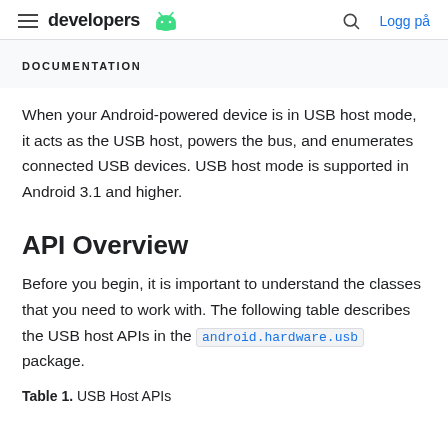developers [android logo] | [search icon] Logg på
DOCUMENTATION
When your Android-powered device is in USB host mode, it acts as the USB host, powers the bus, and enumerates connected USB devices. USB host mode is supported in Android 3.1 and higher.
API Overview
Before you begin, it is important to understand the classes that you need to work with. The following table describes the USB host APIs in the android.hardware.usb package.
Table 1. USB Host APIs